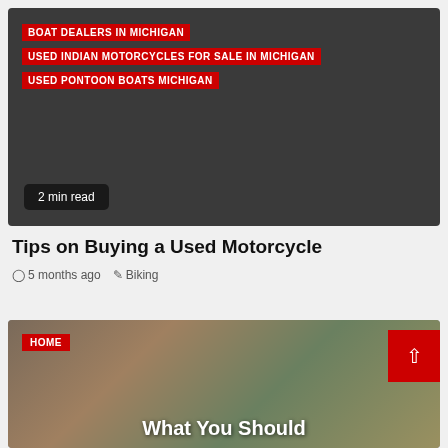[Figure (screenshot): Dark gray card with red keyword tags: BOAT DEALERS IN MICHIGAN, USED INDIAN MOTORCYCLES FOR SALE IN MICHIGAN, USED PONTOON BOATS MICHIGAN, and a '2 min read' badge at bottom left]
Tips on Buying a Used Motorcycle
5 months ago  Biking
[Figure (photo): Blurred food/drink photo with HOME tag top-left, scroll-to-top red button top-right, and 'What You Should' white bold text at bottom center]